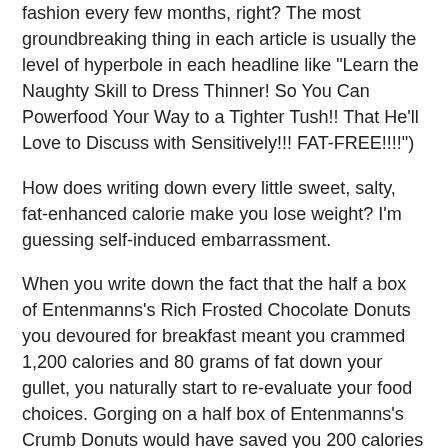fashion every few months, right? The most groundbreaking thing in each article is usually the level of hyperbole in each headline like "Learn the Naughty Skill to Dress Thinner! So You Can Powerfood Your Way to a Tighter Tush!! That He'll Love to Discuss with Sensitively!!! FAT-FREE!!!!")
How does writing down every little sweet, salty, fat-enhanced calorie make you lose weight? I'm guessing self-induced embarrassment.
When you write down the fact that the half a box of Entenmanns's Rich Frosted Chocolate Donuts you devoured for breakfast meant you crammed 1,200 calories and 80 grams of fat down your gullet, you naturally start to re-evaluate your food choices. Gorging on a half box of Entenmanns's Crumb Donuts would have saved you 200 calories and 32 grams of fat, Porky! I just saved you like 6 sit-ups!
You may be tempted to share your food journal, thinking you'll get much needed support and admiration from others. Maybe. Or maybe it'll be like that time Arbitron sent you two shiny quarters to record your radio listening habits for two